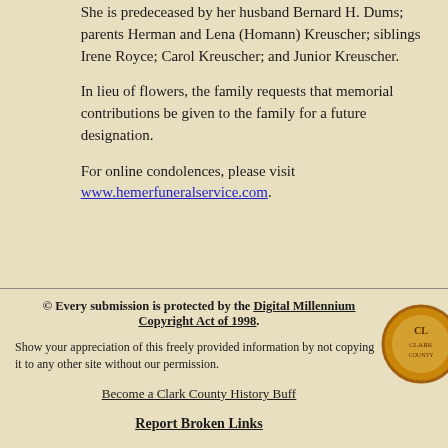She is predeceased by her husband Bernard H. Dums; parents Herman and Lena (Homann) Kreuscher; siblings Irene Royce; Carol Kreuscher; and Junior Kreuscher.
In lieu of flowers, the family requests that memorial contributions be given to the family for a future designation.
For online condolences, please visit www.hemerfuneralservice.com.
© Every submission is protected by the Digital Millennium Copyright Act of 1998. Show your appreciation of this freely provided information by not copying it to any other site without our permission. Become a Clark County History Buff. Report Broken Links